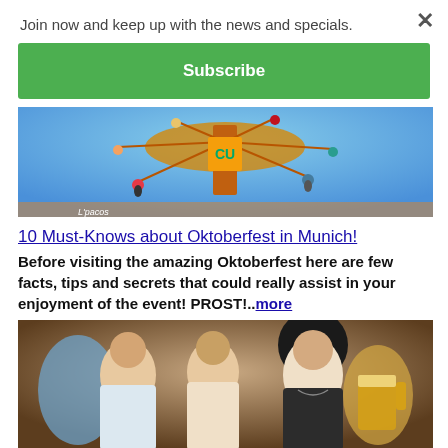Join now and keep up with the news and specials.
×
Subscribe
[Figure (photo): Aerial carnival ride (swing carousel) at Oktoberfest seen from below with colorful decorations]
10 Must-Knows about Oktoberfest in Munich!
Before visiting the amazing Oktoberfest here are few facts, tips and secrets that could really assist in your enjoyment of the event! PROST!..more
[Figure (photo): Group of women in traditional Bavarian dirndl dress smiling and holding beer mugs at Oktoberfest]